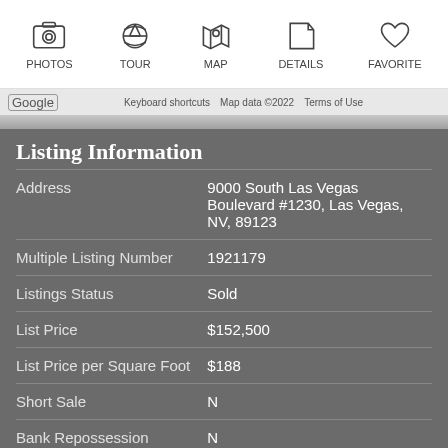[Figure (screenshot): Navigation bar with icons for PHOTOS, TOUR, MAP, DETAILS, FAVORITE]
[Figure (screenshot): Google Maps footer with keyboard shortcuts, Map data ©2022, Terms of Use]
Listing Information
| Field | Value |
| --- | --- |
| Address | 9000 South Las Vegas Boulevard #1230, Las Vegas, NV, 89123 |
| Multiple Listing Number | 1921179 |
| Listings Status | Sold |
| List Price | $152,500 |
| List Price per Square Foot | $188 |
| Short Sale | N |
| Bank Repossession | N |
Property Features